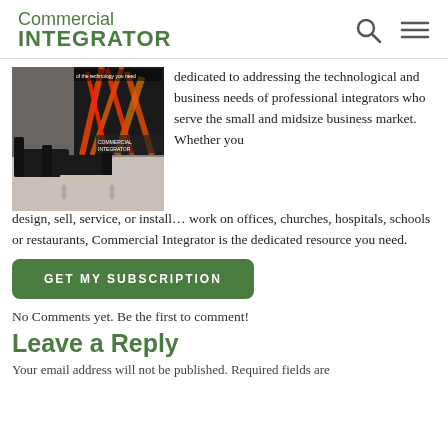Commercial INTEGRATOR
[Figure (photo): Magazine cover showing a modern lobby with black furniture and colorful abstract art display]
dedicated to addressing the technological and business needs of professional integrators who serve the small and midsize business market. Whether you design, sell, service, or install… work on offices, churches, hospitals, schools or restaurants, Commercial Integrator is the dedicated resource you need.
GET MY SUBSCRIPTION
No Comments yet. Be the first to comment!
Leave a Reply
Your email address will not be published. Required fields are